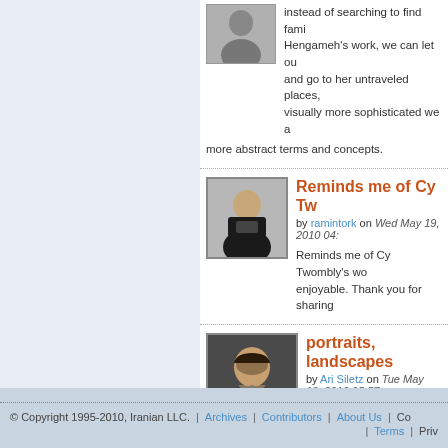instead of searching to find familiar signs in Hengameh's work, we can let our and go to her untraveled places, visually more sophisticated we are more abstract terms and concepts.
Reminds me of Cy Tw
by ramintork on Wed May 19, 2010 04:
Reminds me of Cy Twombly's wo enjoyable. Thank you for sharing
portraits, landscapes
by Ari Siletz on Tue May 18, 2010 05:57
...still lifes, miniatures, a gamut o the artist's "signature" style. Enga
© Copyright 1995-2010, Iranian LLC.  |  Archives  |  Contributors  |  About Us  |  Co  |  Terms  |  Priv